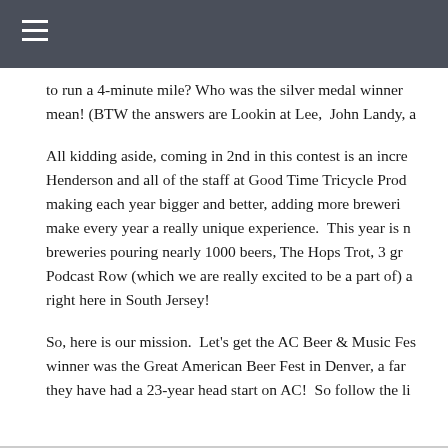to run a 4-minute mile? Who was the silver medal winner mean! (BTW the answers are Lookin at Lee,  John Landy, a
All kidding aside, coming in 2nd in this contest is an incre Henderson and all of the staff at Good Time Tricycle Prod making each year bigger and better, adding more breweri make every year a really unique experience.  This year is r breweries pouring nearly 1000 beers, The Hops Trot, 3 gr Podcast Row (which we are really excited to be a part of) a right here in South Jersey!
So, here is our mission.  Let's get the AC Beer & Music Fes winner was the Great American Beer Fest in Denver, a far they have had a 23-year head start on AC!  So follow the li